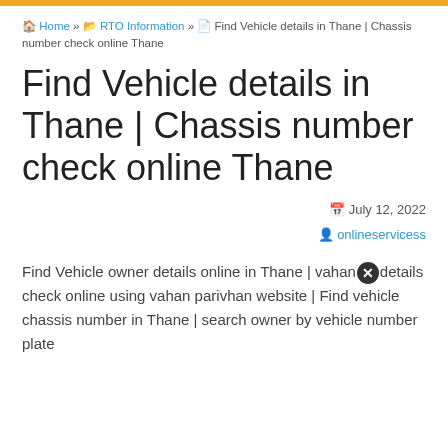orange top bar
Home » RTO Information » Find Vehicle details in Thane | Chassis number check online Thane
Find Vehicle details in Thane | Chassis number check online Thane
July 12, 2022
onlineservicess
Find Vehicle owner details online in Thane | vahan details check online using vahan parivhan website | Find vehicle chassis number in Thane | search owner by vehicle number plate